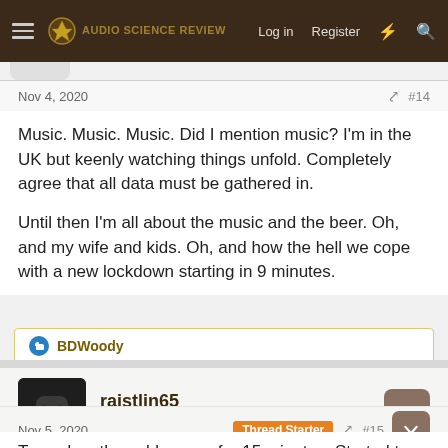Audio Science Review — Log in  Register
Nov 4, 2020  #14
Music. Music. Music. Did I mention music? I'm in the UK but keenly watching things unfold. Completely agree that all data must be gathered in.

Until then I'm all about the music and the beer. Oh, and my wife and kids. Oh, and how the hell we cope with a new lockdown starting in 9 minutes.
BDWoody
raistlin65
Major Contributor  Forum Donor
Nov 5, 2020  Thread Starter  #15
Turned on the cable news for 15 minutes. Started to get sucked